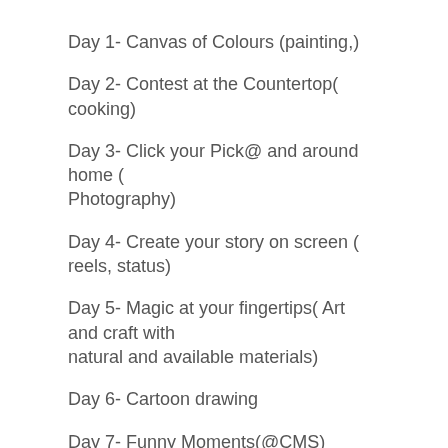Day 1- Canvas of Colours (painting,)
Day 2- Contest at the Countertop( cooking)
Day 3- Click your Pick@ and around home ( Photography)
Day 4- Create your story on screen ( reels, status)
Day 5- Magic at your fingertips( Art and craft with natural and available materials)
Day 6- Cartoon drawing
Day 7- Funny Moments(@CMS) Retold